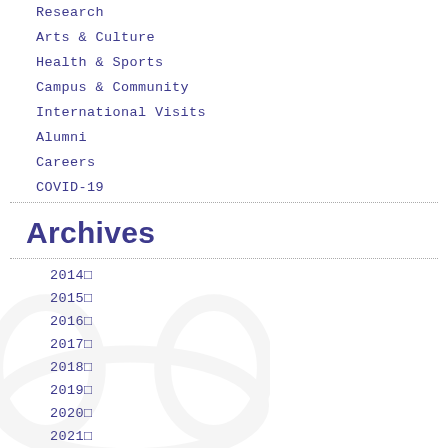Research
Arts & Culture
Health & Sports
Campus & Community
International Visits
Alumni
Careers
COVID-19
Archives
2014▪
2015▪
2016▪
2017▪
2018▪
2019▪
2020▪
2021▪